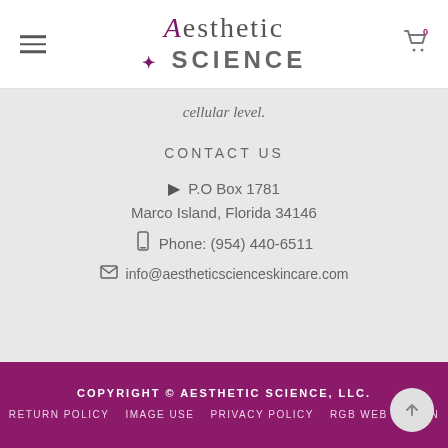[Figure (logo): Aesthetic Science logo with stylized text]
cellular level.
CONTACT US
P.O Box 1781
Marco Island, Florida 34146
Phone: (954) 440-6511
info@aestheticscienceskincare.com
COPYRIGHT © AESTHETIC SCIENCE, LLC.   RETURN POLICY   IMAGE USE   PRIVACY POLICY   RGB WEB DESIGN